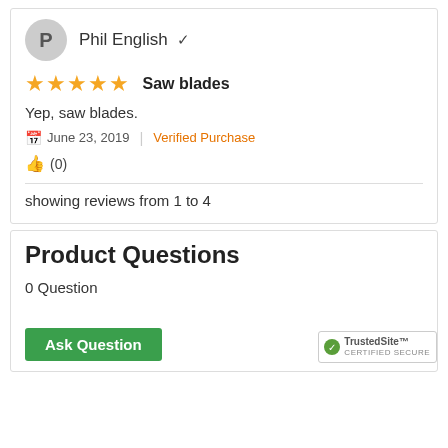Phil English ✓
Saw blades
Yep, saw blades.
June 23, 2019 | Verified Purchase
(0)
showing reviews from 1 to 4
Product Questions
0 Question